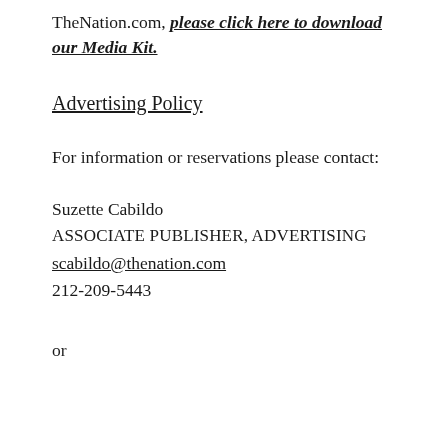TheNation.com, please click here to download our Media Kit.
Advertising Policy
For information or reservations please contact:
Suzette Cabildo
ASSOCIATE PUBLISHER, ADVERTISING
scabildo@thenation.com
212-209-5443
or